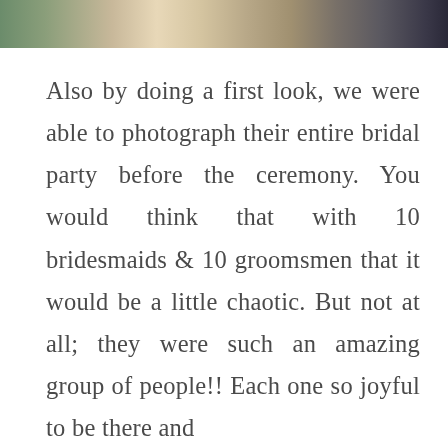[Figure (photo): Cropped wedding photo strip showing people in formal attire]
Also by doing a first look, we were able to photograph their entire bridal party before the ceremony. You would think that with 10 bridesmaids & 10 groomsmen that it would be a little chaotic. But not at all; they were such an amazing group of people!! Each one so joyful to be there and